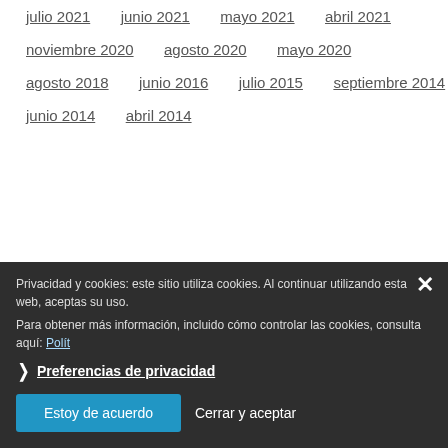julio 2021
junio 2021
mayo 2021
abril 2021
noviembre 2020
agosto 2020
mayo 2020
agosto 2018
junio 2016
julio 2015
septiembre 2014
junio 2014
abril 2014
Privacidad y cookies: este sitio utiliza cookies. Al continuar utilizando esta web, aceptas su uso. Para obtener más información, incluido cómo controlar las cookies, consulta aquí: Política de cookies
Preferencias de privacidad
Estoy de acuerdo
Cerrar y aceptar